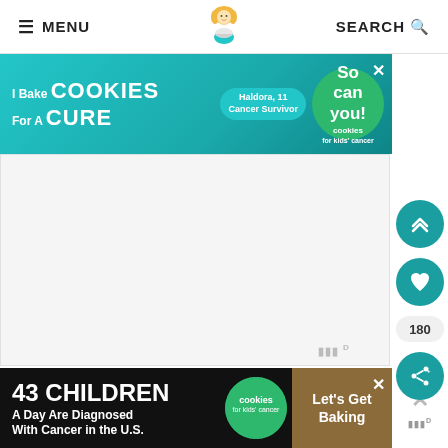≡ MENU  [logo]  SEARCH 🔍
[Figure (screenshot): Top banner advertisement: 'I Bake COOKIES For A CURE' with Haldora, 11 Cancer Survivor and 'So can you!' badge — Cookies for Kids' Cancer]
[Figure (screenshot): Main content area — large empty gray content region with Mediavine watermark]
[Figure (infographic): Right sidebar with teal scroll-to-top button (chevrons up), teal heart/favorite button, count badge showing 180, and teal share button]
[Figure (screenshot): Bottom banner advertisement on black background: '43 CHILDREN A Day Are Diagnosed With Cancer in the U.S.' with Cookies for Kids' Cancer logo and 'Let's Get Baking' call to action]